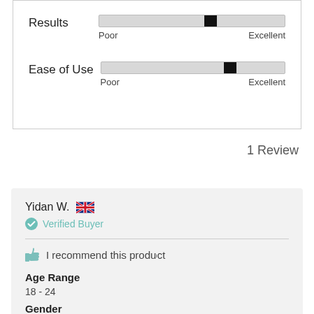[Figure (other): Two slider rating bars: 'Results' slider positioned about 60% from left (closer to Excellent), and 'Ease of Use' slider positioned about 70% from left. Each slider shows 'Poor' on the left and 'Excellent' on the right.]
1 Review
Yidan W.
Verified Buyer
I recommend this product
Age Range
18 - 24
Gender